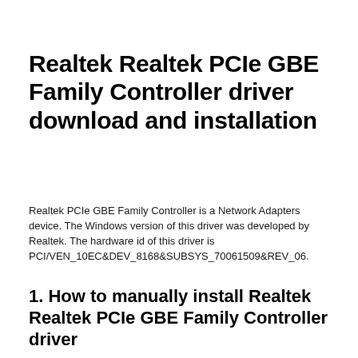Realtek Realtek PCIe GBE Family Controller driver download and installation
Realtek PCIe GBE Family Controller is a Network Adapters device. The Windows version of this driver was developed by Realtek. The hardware id of this driver is PCI/VEN_10EC&DEV_8168&SUBSYS_70061509&REV_06.
1. How to manually install Realtek Realtek PCIe GBE Family Controller driver